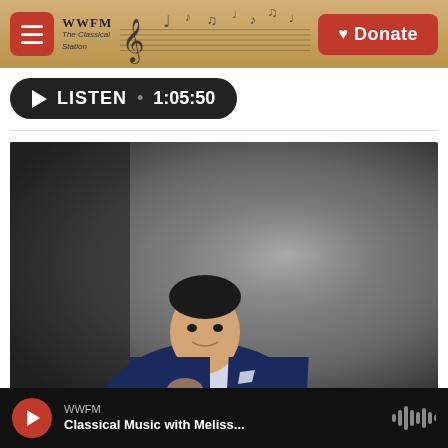WWFM The Classical Station — Donate
LISTEN • 1:05:50
[Figure (photo): Professional headshot of a young Asian man in a navy blue suit jacket and white shirt, posed against a dark background]
Webcasts
Sounds Choral: May 30 -
WWFM — Classical Music with Meliss...